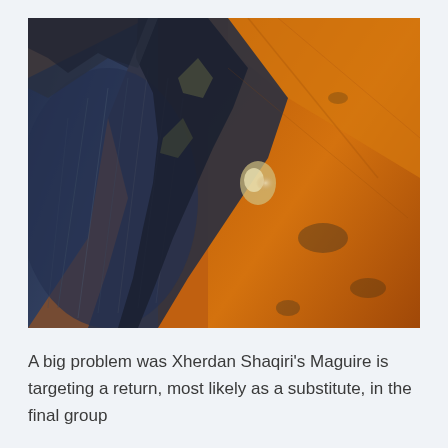[Figure (photo): Aerial/satellite photograph of a Martian crater showing reddish-orange terrain on the right and dark shadowed slopes with streak patterns on the left, with a rocky ridgeline running diagonally through the center.]
A big problem was Xherdan Shaqiri's Maguire is targeting a return, most likely as a substitute, in the final group